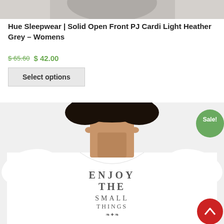[Figure (photo): Top portion of a grey cardigan/sleepwear product photo cropped at top]
Hue Sleepwear | Solid Open Front PJ Cardi Light Heather Grey – Womens
$ 65.60 $ 42.00
Select options
[Figure (photo): Woman wearing a white t-shirt with 'ENJOY THE SMALL THINGS' printed on it, with a green 'Sale!' badge in top right and a red scroll-to-top button in bottom right]